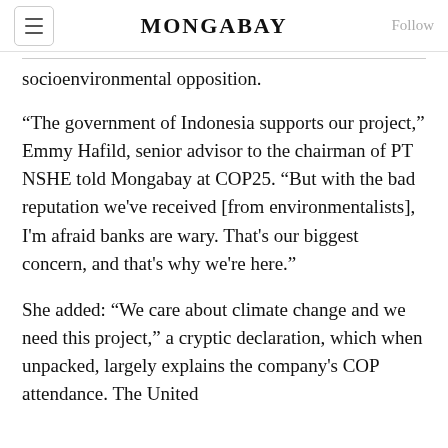MONGABAY
socioenvironmental opposition.
“The government of Indonesia supports our project,” Emmy Hafild, senior advisor to the chairman of PT NSHE told Mongabay at COP25. “But with the bad reputation we’ve received [from environmentalists], I’m afraid banks are wary. That’s our biggest concern, and that’s why we’re here.”
She added: “We care about climate change and we need this project,” a cryptic declaration, which when unpacked, largely explains the company’s COP attendance. The United